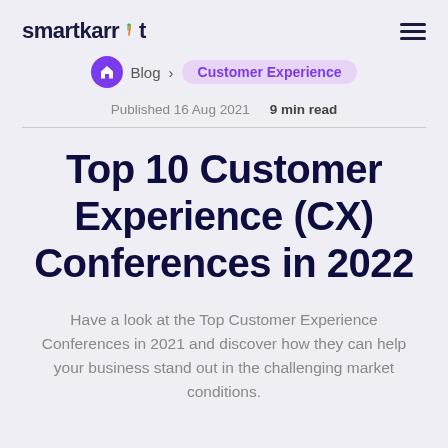smartkarrot
Blog › Customer Experience
Published 16 Aug 2021   9 min read
Top 10 Customer Experience (CX) Conferences in 2022
Have a look at the Top Customer Experience Conferences in 2021 and discover how they can help your business stand out in the challenging market conditions.